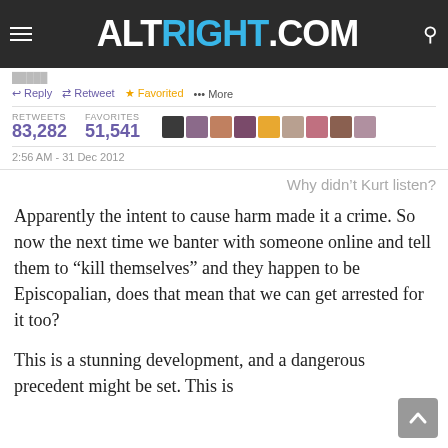ALTRIGHT.COM
[Figure (screenshot): Tweet screenshot showing reply, retweet, favorited, more actions; 83,282 retweets, 51,541 favorites; user avatars; timestamp 2:56 AM - 31 Dec 2012]
Why didn't Kurt listen?
Apparently the intent to cause harm made it a crime. So now the next time we banter with someone online and tell them to “kill themselves” and they happen to be Episcopalian, does that mean that we can get arrested for it too?
This is a stunning development, and a dangerous precedent might be set. This is